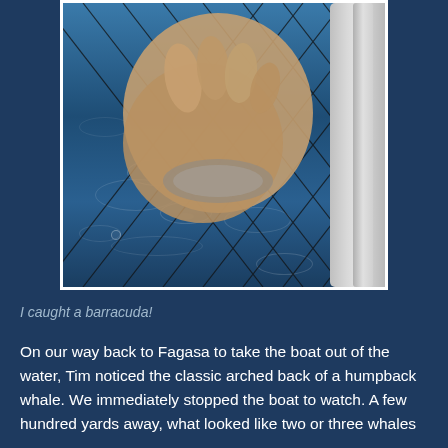[Figure (photo): Close-up photograph of a hand holding a fish (barracuda) in a fishing net over water. The net's dark mesh is visible against blue ocean water with ripples. A metal pole is visible on the right side of the frame.]
I caught a barracuda!
On our way back to Fagasa to take the boat out of the water, Tim noticed the classic arched back of a humpback whale. We immediately stopped the boat to watch. A few hundred yards away, what looked like two or three whales